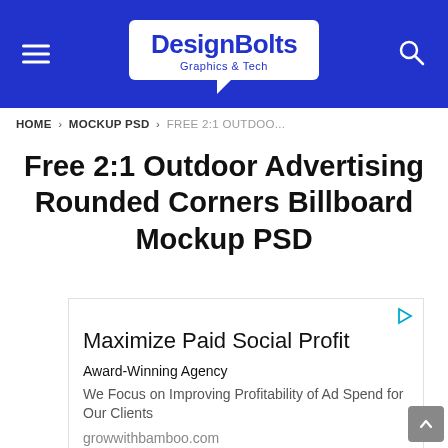DesignBolts Graphics & Tech
HOME › MOCKUP PSD › FREE 2:1 OUTDOO...
Free 2:1 Outdoor Advertising Rounded Corners Billboard Mockup PSD
[Figure (infographic): Advertisement box: Maximize Paid Social Profit. Award-Winning Agency. We Focus on Improving Profitability of Ad Spend for Our Clients. growwithbamboo.com]